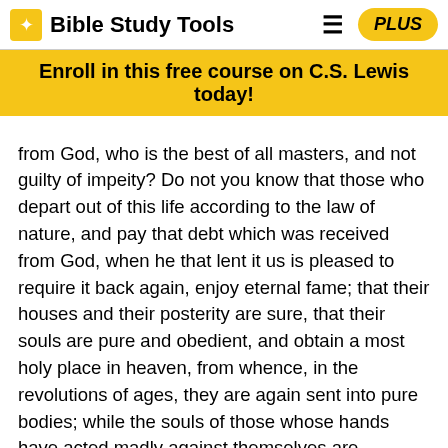Bible Study Tools
Enroll in this free course on C.S. Lewis today!
from God, who is the best of all masters, and not guilty of impeity? Do not you know that those who depart out of this life according to the law of nature, and pay that debt which was received from God, when he that lent it us is pleased to require it back again, enjoy eternal fame; that their houses and their posterity are sure, that their souls are pure and obedient, and obtain a most holy place in heaven, from whence, in the revolutions of ages, they are again sent into pure bodies; while the souls of those whose hands have acted madly against themselves are received by the darkest place in Hades, and while God, who is their Father, punishes those that offend against either of them in their posterity? for which reason God hates such doings, and the crime is punished by our most wise legislator. Accordingly, our